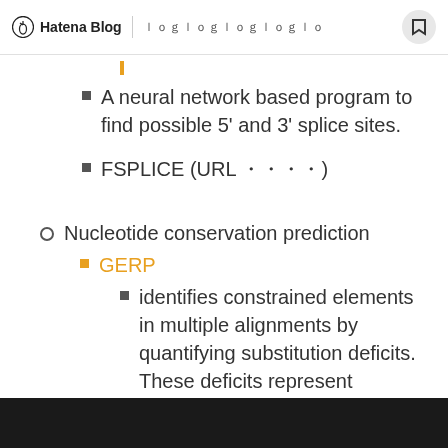Hatena Blog | ｌｏｇ…
A neural network based program to find possible 5' and 3' splice sites.
FSPLICE (URL 省略)
Nucleotide conservation prediction
GERP
identifies constrained elements in multiple alignments by quantifying substitution deficits. These deficits represent substitutions that would have occurred if the element were neutral